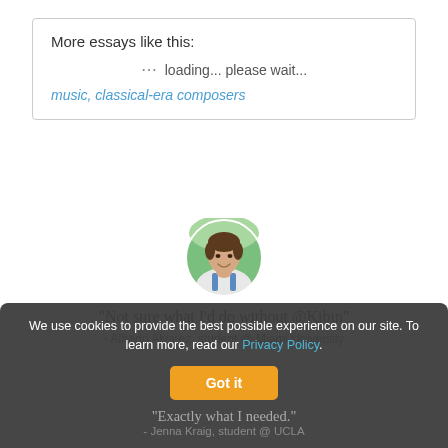More essays like this:
loading... please wait...
music, classical-era composers
[Figure (photo): Circular profile photo of a young man smiling, wearing a backpack, with green trees in background]
"Not sure what I'd do without @Kibin"
- Alfredo Alvarez, student @ Miami University
We use cookies to provide the best possible experience on our site. To learn more, read our Privacy Policy.
Got it
"Exactly what I needed."
- Jenna Kraig, student @ UCLA